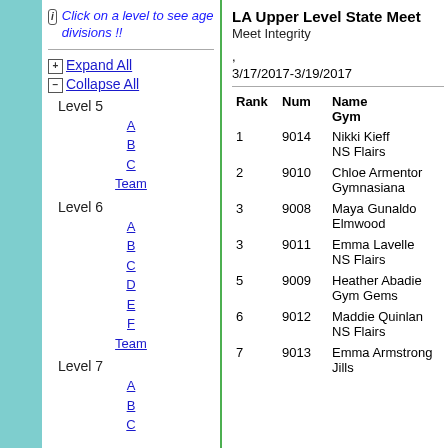Click on a level to see age divisions !!
Expand All
Collapse All
Level 5
A
B
C
Team
Level 6
A
B
C
D
E
F
Team
Level 7
A
B
C
LA Upper Level State Meet
Meet Integrity
,
3/17/2017-3/19/2017
| Rank | Num | Name
Gym |
| --- | --- | --- |
| 1 | 9014 | Nikki Kieff
NS Flairs |
| 2 | 9010 | Chloe Armentor
Gymnasiana |
| 3 | 9008 | Maya Gunaldo
Elmwood |
| 3 | 9011 | Emma Lavelle
NS Flairs |
| 5 | 9009 | Heather Abadie
Gym Gems |
| 6 | 9012 | Maddie Quinlan
NS Flairs |
| 7 | 9013 | Emma Armstrong
Jills |